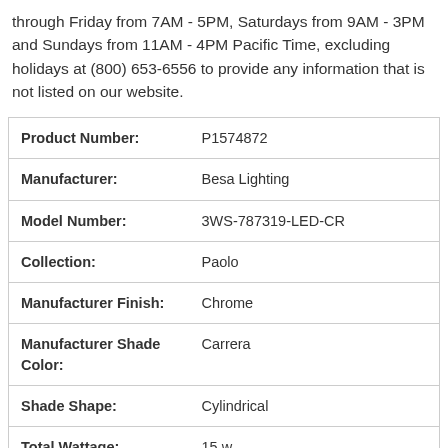through Friday from 7AM - 5PM, Saturdays from 9AM - 3PM and Sundays from 11AM - 4PM Pacific Time, excluding holidays at (800) 653-6556 to provide any information that is not listed on our website.
| Product Number: | P1574872 |
| Manufacturer: | Besa Lighting |
| Model Number: | 3WS-787319-LED-CR |
| Collection: | Paolo |
| Manufacturer Finish: | Chrome |
| Manufacturer Shade Color: | Carrera |
| Shade Shape: | Cylindrical |
| Total Wattage: | 15 w. |
| Voltage Type: | Line Voltage |